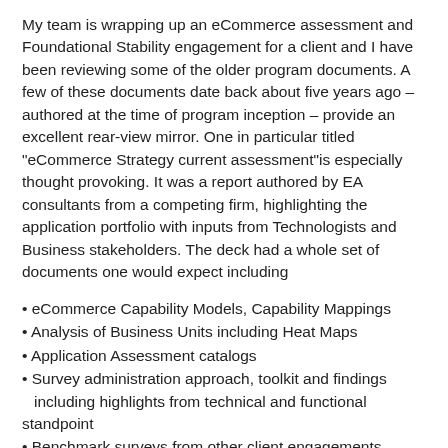My team is wrapping up an eCommerce assessment and Foundational Stability engagement for a client and I have been reviewing some of the older program documents. A few of these documents date back about five years ago – authored at the time of program inception – provide an excellent rear-view mirror. One in particular titled "eCommerce Strategy current assessment"is especially thought provoking. It was a report authored by EA consultants from a competing firm, highlighting the application portfolio with inputs from Technologists and Business stakeholders. The deck had a whole set of documents one would expect including
eCommerce Capability Models, Capability Mappings
Analysis of Business Units including Heat Maps
Application Assessment catalogs
Survey administration approach, toolkit and findings including highlights from technical and functional standpoint
Benchmark surveys from other client engagements
Health-Check and findings
Future State Roadmap